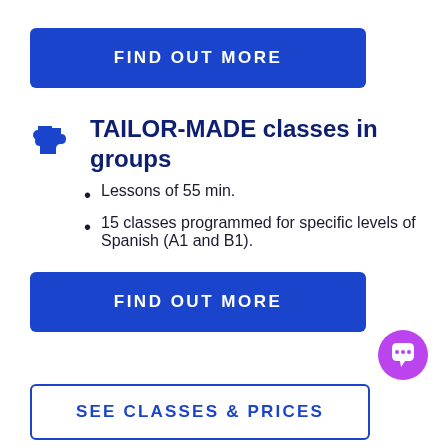[Figure (other): Blue 'FIND OUT MORE' button at top]
TAILOR-MADE classes in groups
Lessons of 55 min.
15 classes programmed for specific levels of Spanish (A1 and B1).
[Figure (other): Blue 'FIND OUT MORE' button]
[Figure (other): Purple chat bubble icon]
[Figure (other): Blue outlined 'SEE CLASSES & PRICES' button at bottom]